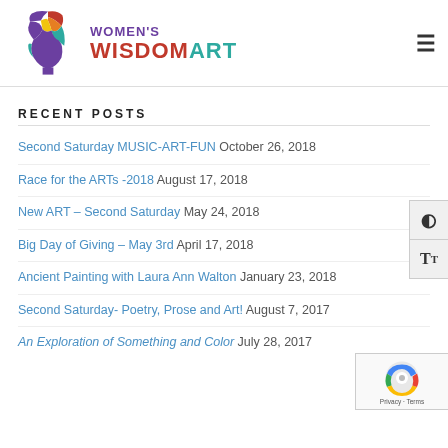[Figure (logo): Women's Wisdom Art logo with colorful head silhouette and text]
RECENT POSTS
Second Saturday MUSIC-ART-FUN October 26, 2018
Race for the ARTs -2018 August 17, 2018
New ART – Second Saturday May 24, 2018
Big Day of Giving – May 3rd April 17, 2018
Ancient Painting with Laura Ann Walton January 23, 2018
Second Saturday- Poetry, Prose and Art! August 7, 2017